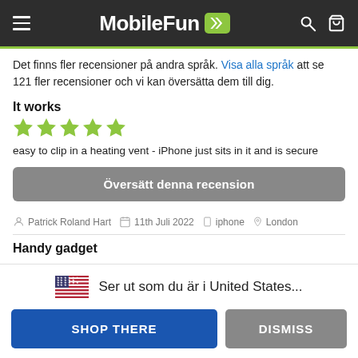MobileFun
Det finns fler recensioner på andra språk. Visa alla språk att se 121 fler recensioner och vi kan översätta dem till dig.
It works
easy to clip in a heating vent - iPhone just sits in it and is secure
Översätt denna recension
Patrick Roland Hart   11th Juli 2022   iphone   London
Handy gadget
🇺🇸 Ser ut som du är i United States...
SHOP THERE   DISMISS